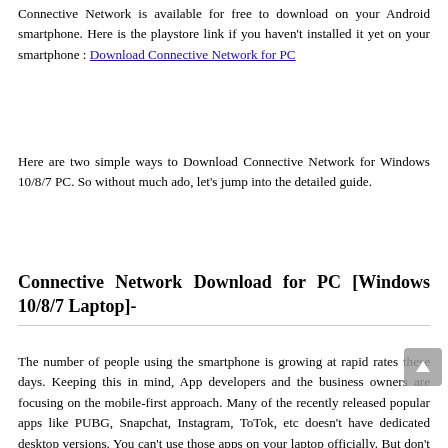Connective Network is available for free to download on your Android smartphone. Here is the playstore link if you haven't installed it yet on your smartphone : Download Connective Network for PC
Here are two simple ways to Download Connective Network for Windows 10/8/7 PC. So without much ado, let's jump into the detailed guide.
Connective Network Download for PC [Windows 10/8/7 Laptop]-
The number of people using the smartphone is growing at rapid rates these days. Keeping this in mind, App developers and the business owners are focusing on the mobile-first approach. Many of the recently released popular apps like PUBG, Snapchat, Instagram, ToTok, etc doesn't have dedicated desktop versions. You can't use those apps on your laptop officially. But don't worry, you